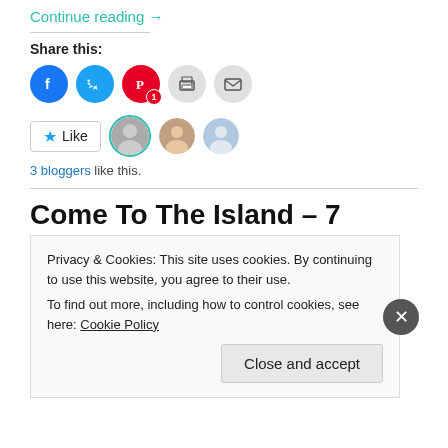Continue reading →
Share this:
[Figure (infographic): Social sharing icons: Facebook (blue circle), Twitter (blue circle), Pinterest (red circle with badge '1'), Print (grey circle), Email (grey circle)]
[Figure (infographic): Like button with star icon and 3 blogger avatar thumbnails]
3 bloggers like this.
Come To The Island – 7 Great Reasons To Float On An Island.
Privacy & Cookies: This site uses cookies. By continuing to use this website, you agree to their use.
To find out more, including how to control cookies, see here: Cookie Policy
Close and accept